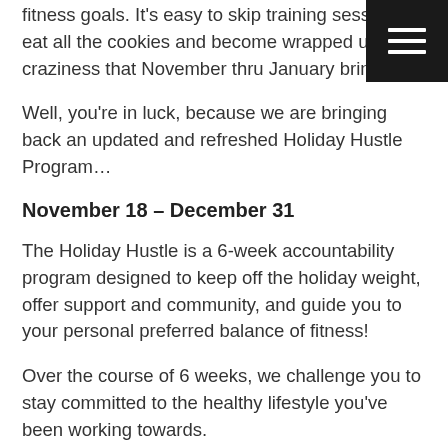fitness goals. It's easy to skip training sessions, eat all the cookies and become wrapped up in the craziness that November thru January brings.
Well, you're in luck, because we are bringing back an updated and refreshed Holiday Hustle Program…
November 18 – December 31
The Holiday Hustle is a 6-week accountability program designed to keep off the holiday weight, offer support and community, and guide you to your personal preferred balance of fitness!
Over the course of 6 weeks, we challenge you to stay committed to the healthy lifestyle you've been working towards.